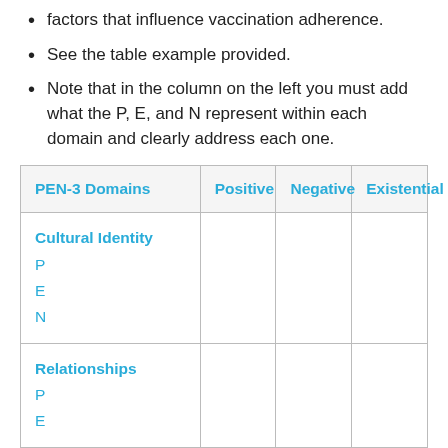factors that influence vaccination adherence.
See the table example provided.
Note that in the column on the left you must add what the P, E, and N represent within each domain and clearly address each one.
| PEN-3 Domains | Positive | Negative | Existential |
| --- | --- | --- | --- |
| Cultural Identity
P
E
N |  |  |  |
| Relationships
P
E
... |  |  |  |